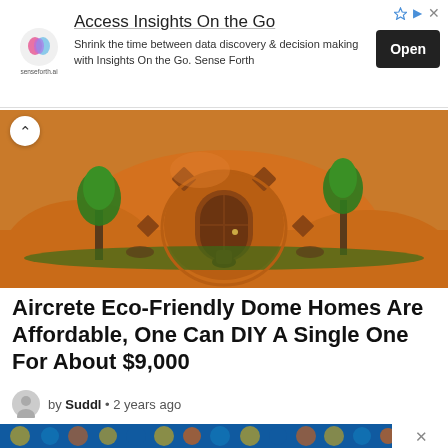[Figure (screenshot): Top advertisement banner: senseforth.ai logo, headline 'Access Insights On the Go', description text, and 'Open' button]
[Figure (photo): Orange adobe/clay dome-shaped eco home with round wooden door, diamond tile decorations, small trees and plants in front]
Aircrete Eco-Friendly Dome Homes Are Affordable, One Can DIY A Single One For About $9,000
by Suddl • 2 years ago
[Figure (photo): Colorful mosaic tile art strip in blue, yellow and orange tones — appears as decorative banner]
[Figure (screenshot): Bottom advertisement: image of person at conference, text 'NEW YORK, LONDON OR SINGAPORE,' headline 'Access Insights On the Go', and 'Open' button]